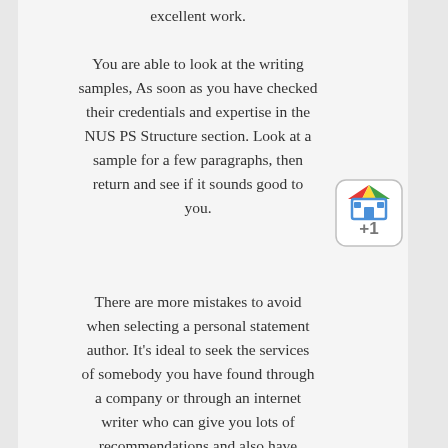.excellent work
You are able to look at the writing samples, As soon as you have checked their credentials and expertise in the NUS PS Structure section. Look at a sample for a few paragraphs, then return and see if it sounds good to you.
[Figure (illustration): Google +1 badge icon with colorful house logo and +1 text]
There are more mistakes to avoid when selecting a personal statement author. It's ideal to seek the services of somebody you have found through a company or through an internet writer who can give you lots of recommendations and also have worked in the field before. In the end, this information should help you find the ideal one for your circumstances.